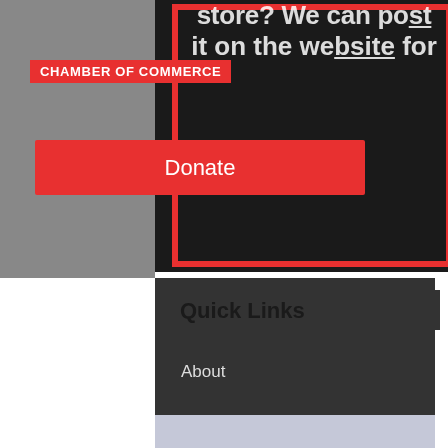[Figure (screenshot): Website screenshot showing top banner with text 'store? We can post it on the website for' over dark background with red border]
CHAMBER OF COMMERCE
Donate
Quick Links
About
Support Us
News
Events
Contact